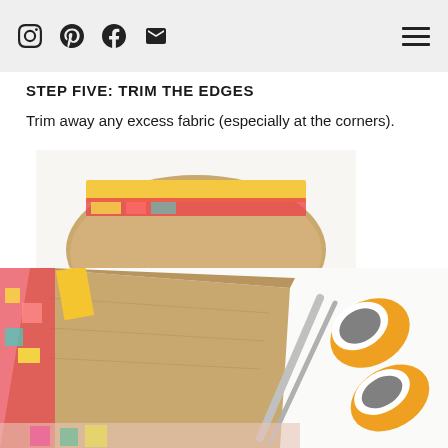Social icons: Instagram, Pinterest, Facebook, Email; Hamburger menu
STEP FIVE: TRIM THE EDGES
Trim away any excess fabric (especially at the corners).
[Figure (photo): Close-up of cardboard piece wrapped with colorful patterned fabric and yellow ribbon, showing the rounded edge being trimmed.]
[Figure (photo): Close-up of the corner of a cardboard box wrapped in colorful fabric, next to a pair of orange-handled scissors, showing the trimming process.]